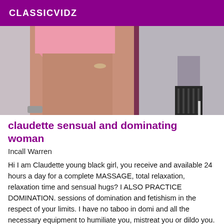CLASSICVIDZ
[Figure (photo): Partial photo of a woman in a pink skirt, cropped to show legs and lower body; another figure in high heels visible on the right side.]
claudette sensual and dominating woman
Incall Warren
Hi I am Claudette young black girl, you receive and available 24 hours a day for a complete MASSAGE, total relaxation, relaxation time and sensual hugs? I ALSO PRACTICE DOMINATION. sessions of domination and fetishism in the respect of your limits. I have no taboo in domi and all the necessary equipment to humiliate you, mistreat you or dildo you. I also offer initiation sessions